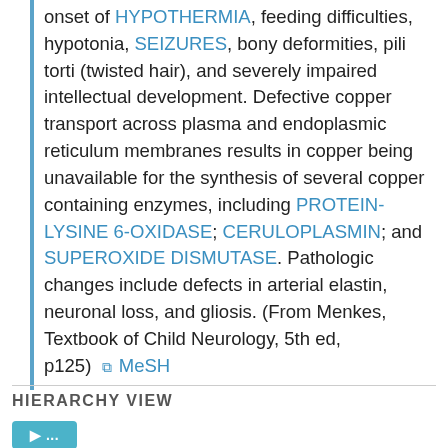onset of HYPOTHERMIA, feeding difficulties, hypotonia, SEIZURES, bony deformities, pili torti (twisted hair), and severely impaired intellectual development. Defective copper transport across plasma and endoplasmic reticulum membranes results in copper being unavailable for the synthesis of several copper containing enzymes, including PROTEIN-LYSINE 6-OXIDASE; CERULOPLASMIN; and SUPEROXIDE DISMUTASE. Pathologic changes include defects in arterial elastin, neuronal loss, and gliosis. (From Menkes, Textbook of Child Neurology, 5th ed, p125)  MeSH
HIERARCHY VIEW